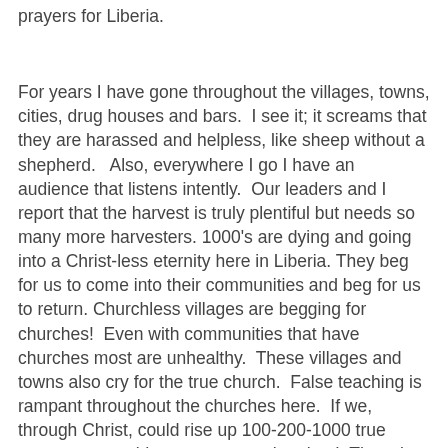prayers for Liberia.
For years I have gone throughout the villages, towns, cities, drug houses and bars.  I see it; it screams that they are harassed and helpless, like sheep without a shepherd.   Also, everywhere I go I have an audience that listens intently.  Our leaders and I report that the harvest is truly plentiful but needs so many more harvesters. 1000's are dying and going into a Christ-less eternity here in Liberia. They beg for us to come into their communities and beg for us to return. Churchless villages are begging for churches!  Even with communities that have churches most are unhealthy.  These villages and towns also cry for the true church.  False teaching is rampant throughout the churches here.  If we, through Christ, could rise up 100-200-1000 true pastors we could start as many churches!  There is no doubt about that!   We must